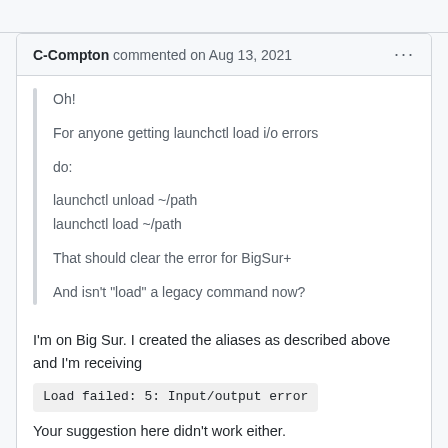C-Compton commented on Aug 13, 2021
Oh!

For anyone getting launchctl load i/o errors

do:

launchctl unload ~/path
launchctl load ~/path

That should clear the error for BigSur+

And isn't "load" a legacy command now?
I'm on Big Sur. I created the aliases as described above and I'm receiving
Load failed: 5: Input/output error
Your suggestion here didn't work either.